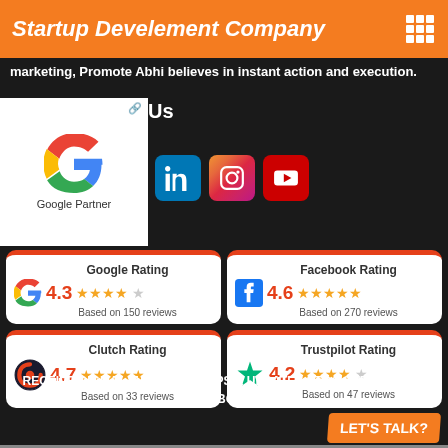Startup Develement Company
marketing, Promote Abhi believes in instant action and execution.
Us
[Figure (logo): Google Partner badge with Google G logo]
[Figure (logo): LinkedIn icon button]
[Figure (logo): Instagram icon button]
[Figure (logo): YouTube icon button]
[Figure (infographic): Google Rating 4.3 stars based on 150 reviews]
[Figure (infographic): Facebook Rating 4.6 stars based on 270 reviews]
[Figure (infographic): Clutch Rating 4.7 stars based on 33 reviews]
[Figure (infographic): Trustpilot Rating 4.2 stars based on 47 reviews]
RECEIVE DIGITAL MARKETING TIPS & UPDATES STRAIGHT TO YOUR INBOX
LET'S TALK?